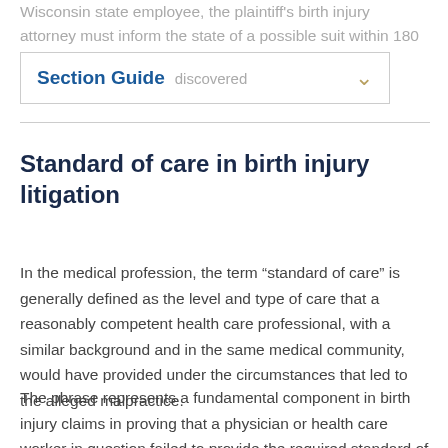Wisconsin state employee, the plaintiff's birth injury attorney must inform the state of a possible suit within 180 days of when the injury was discovered
Section Guide
Standard of care in birth injury litigation
In the medical profession, the term “standard of care” is generally defined as the level and type of care that a reasonably competent health care professional, with a similar background and in the same medical community, would have provided under the circumstances that led to the alleged malpractice.
The phrase represents a fundamental component in birth injury claims in proving that a physician or health care worker in question failed to provide the required standard of care under the circumstances. A failure to meet this standard may constitute negligence, and any ensuing damages may be sought in a lawsuit through the Wisconsin court system.